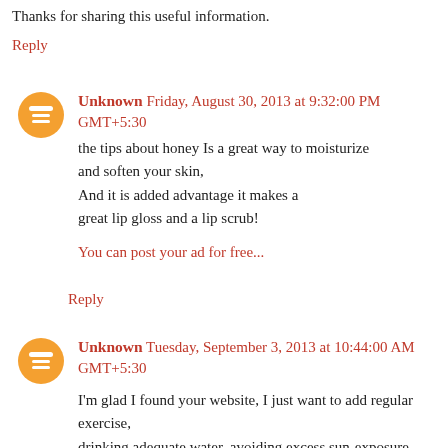Thanks for sharing this useful information.
Reply
Unknown  Friday, August 30, 2013 at 9:32:00 PM GMT+5:30
the tips about honey Is a great way to moisturize and soften your skin,
And it is added advantage it makes a great lip gloss and a lip scrub!
You can post your ad for free...
Reply
Unknown  Tuesday, September 3, 2013 at 10:44:00 AM GMT+5:30
I'm glad I found your website, I just want to add regular exercise, drinking adequate water, avoiding excess sun-exposure, cleaning,